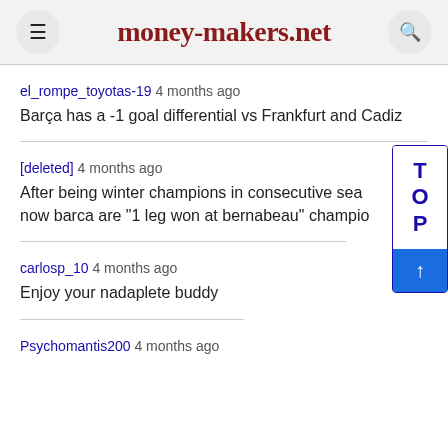money-makers.net
el_rompe_toyotas-19 4 months ago
Barça has a -1 goal differential vs Frankfurt and Cadiz
[deleted] 4 months ago
After being winter champions in consecutive seasons, now barca are "1 leg won at bernabeau" champions
carlosp_10 4 months ago
Enjoy your nadaplete buddy
Psychomantis200 4 months ago